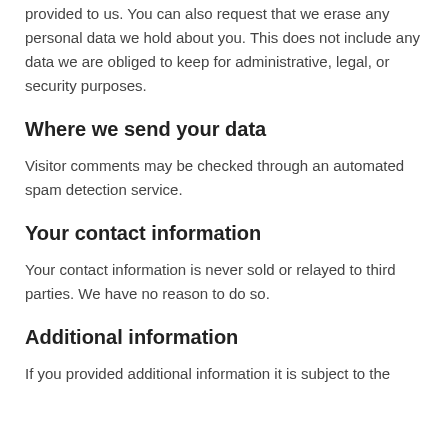provided to us. You can also request that we erase any personal data we hold about you. This does not include any data we are obliged to keep for administrative, legal, or security purposes.
Where we send your data
Visitor comments may be checked through an automated spam detection service.
Your contact information
Your contact information is never sold or relayed to third parties. We have no reason to do so.
Additional information
If you provided additional information it is subject to the